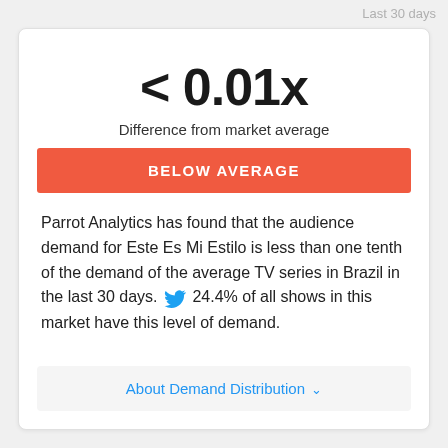Last 30 days
< 0.01x
Difference from market average
BELOW AVERAGE
Parrot Analytics has found that the audience demand for Este Es Mi Estilo is less than one tenth of the demand of the average TV series in Brazil in the last 30 days. 24.4% of all shows in this market have this level of demand.
About Demand Distribution ∨